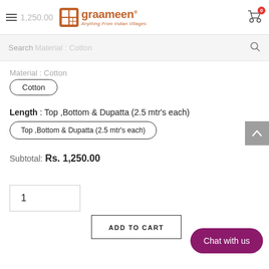1,250.00 graameen Anything From Indian Villages 0
Search  Material : Cotton
Cotton
Length : Top ,Bottom & Dupatta (2.5 mtr's each)
Top ,Bottom & Dupatta (2.5 mtr's each)
Subtotal:  Rs. 1,250.00
1
ADD TO CART
Chat with us